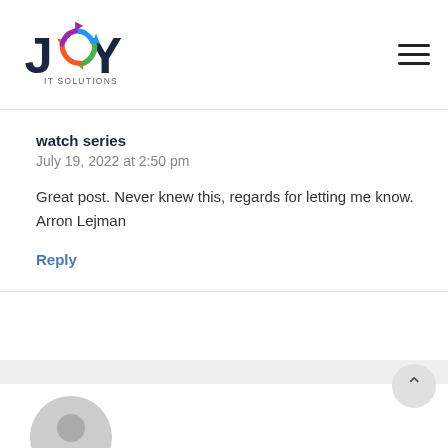JOY IT SOLUTIONS
watch series
July 19, 2022 at 2:50 pm

Great post. Never knew this, regards for letting me know. Arron Lejman
Reply
[Figure (photo): User avatar placeholder icon for a second commenter]